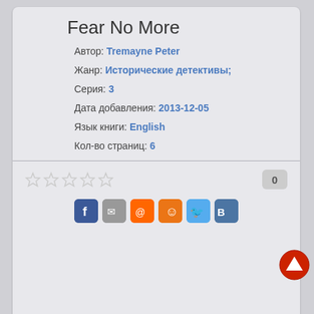Fear No More
Автор: Tremayne Peter
Жанр: Исторические детективы;
Серия: 3
Дата добавления: 2013-12-05
Язык книги: English
Кол-во страниц: 6
0
[Figure (screenshot): Social media sharing icons: Facebook, mail, email, Odnoklassniki, Twitter, VKontakte]
О КНИГЕ  ОТЗЫВЫ  В ИЗБРАННОЕ  ЧИТАТЬ